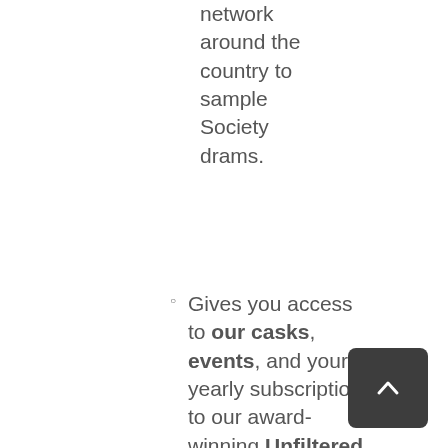network around the country to sample Society drams.
Gives you access to our casks, events, and your yearly subscription to our award-winning Unfiltered Magazine, monthly Outturn, rare releases and